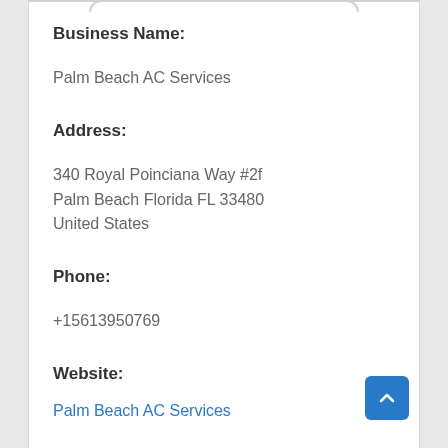Business Name:
Palm Beach AC Services
Address:
340 Royal Poinciana Way #2f
Palm Beach Florida FL 33480
United States
Phone:
+15613950769
Website:
Palm Beach AC Services